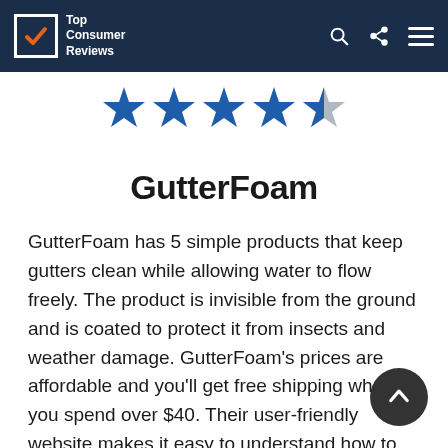Top Consumer Reviews
[Figure (other): 4.5 out of 5 stars rating — four full blue stars and one half grey star]
GutterFoam
GutterFoam has 5 simple products that keep gutters clean while allowing water to flow freely. The product is invisible from the ground and is coated to protect it from insects and weather damage. GutterFoam's prices are affordable and you'll get free shipping when you spend over $40. Their user-friendly website makes it easy to understand how to install GutterFoam and exactly what you'll need to buy to fit the spaces you need. We are impressed with the unique product and think it is a great solution for homeowners.